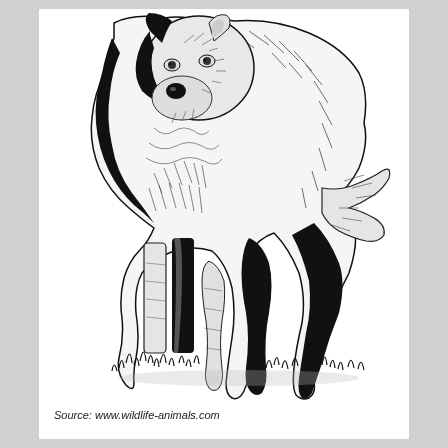[Figure (illustration): Black and white pen-and-ink illustration of a coyote standing facing slightly left, with detailed fur texture, pointed ears, and grass beneath its feet.]
Source: www.wildlife-animals.com